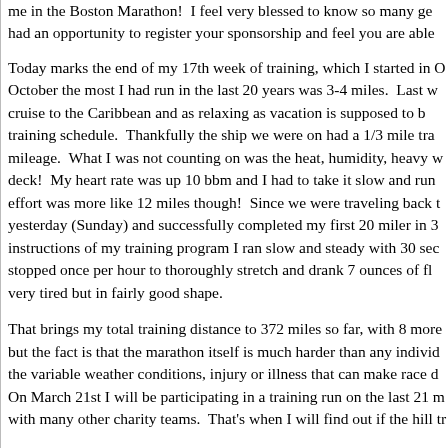me in the Boston Marathon!  I feel very blessed to know so many ge had an opportunity to register your sponsorship and feel you are able
Today marks the end of my 17th week of training, which I started in O October the most I had run in the last 20 years was 3-4 miles.  Last w cruise to the Caribbean and as relaxing as vacation is supposed to b training schedule.  Thankfully the ship we were on had a 1/3 mile tra mileage.  What I was not counting on was the heat, humidity, heavy w deck!  My heart rate was up 10 bbm and I had to take it slow and run effort was more like 12 miles though!  Since we were traveling back t yesterday (Sunday) and successfully completed my first 20 miler in 3 instructions of my training program I ran slow and steady with 30 sec stopped once per hour to thoroughly stretch and drank 7 ounces of fl very tired but in fairly good shape.
That brings my total training distance to 372 miles so far, with 8 more but the fact is that the marathon itself is much harder than any individ the variable weather conditions, injury or illness that can make race d On March 21st I will be participating in a training run on the last 21 m with many other charity teams.  That's when I will find out if the hill tr